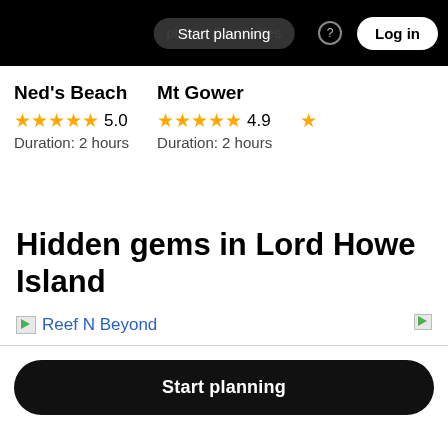Start planning  places & activities  Log in
Ned's Beach ★★★★★ 5.0 Duration: 2 hours
Mt Gower ★★★★★ 4.9 Duration: 2 hours
Hidden gems in Lord Howe Island
Reef N Beyond
Start planning